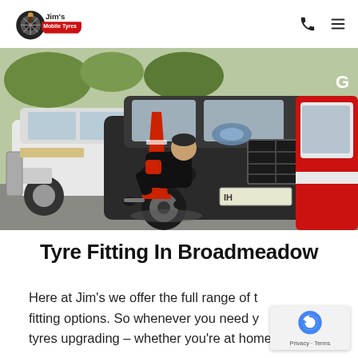Jim's Mobile Tyres – navigation header with logo, phone icon, and menu icon
[Figure (photo): A mechanic in black and red uniform crouching by the wheel of a dark grey SUV in a parking area, with a white 4WD and a red/white van visible in the background. A red safety cone stands nearby.]
Tyre Fitting In Broadmeadow
Here at Jim's we offer the full range of tyre fitting options. So whenever you need y... tyres upgrading – whether you're at home or at